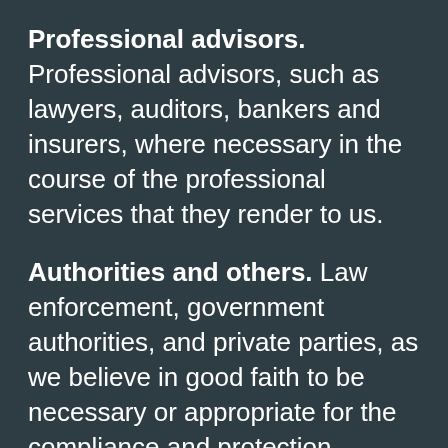Professional advisors. Professional advisors, such as lawyers, auditors, bankers and insurers, where necessary in the course of the professional services that they render to us.
Authorities and others. Law enforcement, government authorities, and private parties, as we believe in good faith to be necessary or appropriate for the compliance and protection purposes described above.
Business transferees. Acquirers and other relevant participants in business transactions (or negotiations for such transactions) involving a corporate divestiture, merger, consolidation, acquisition, reorganization, sale or other